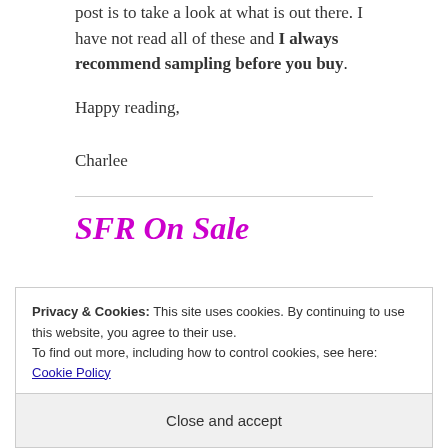post is to take a look at what is out there. I have not read all of these and I always recommend sampling before you buy.
Happy reading,
Charlee
SFR On Sale
Privacy & Cookies: This site uses cookies. By continuing to use this website, you agree to their use.
To find out more, including how to control cookies, see here: Cookie Policy
Close and accept